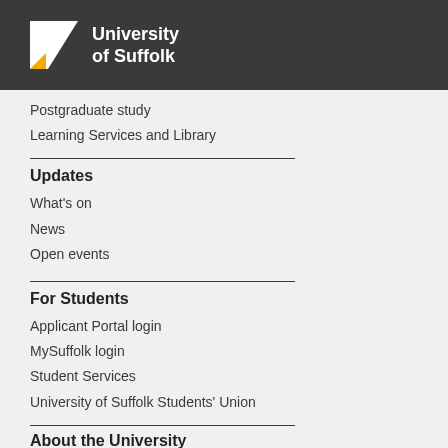[Figure (logo): University of Suffolk logo with white square containing a diagonal slash and yellow triangle, with white text 'University of Suffolk' on dark background]
Postgraduate study
Learning Services and Library
Updates
What's on
News
Open events
For Students
Applicant Portal login
MySuffolk login
Student Services
University of Suffolk Students' Union
About the University